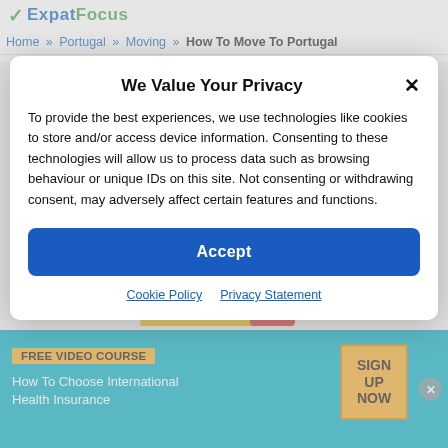ExpatFocus
Home » Portugal » Moving » How To Move To Portugal
We Value Your Privacy
To provide the best experiences, we use technologies like cookies to store and/or access device information. Consenting to these technologies will allow us to process data such as browsing behaviour or unique IDs on this site. Not consenting or withdrawing consent, may adversely affect certain features and functions.
Accept
Cookie Policy  Privacy Statement
FREE VIDEO COURSE
How To Choose International Health Insurance
SIGN UP NOW